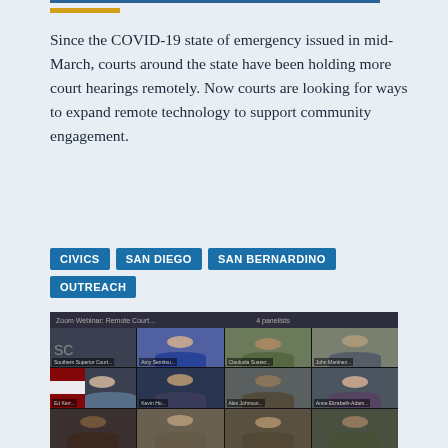Since the COVID-19 state of emergency issued in mid-March, courts around the state have been holding more court hearings remotely. Now courts are looking for ways to expand remote technology to support community engagement.
CIVICS
SAN DIEGO
SAN BERNARDINO
OUTREACH
[Figure (photo): Screenshot of a Zoom video conference showing multiple participants in a grid layout, including someone with 'SC' label, several people in office and home settings, and an American flag visible in one cell.]